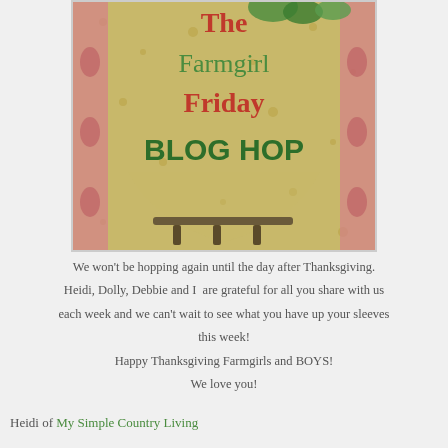[Figure (illustration): The Farmgirl Friday BLOG HOP banner image showing a floral apron hanging, with green and red text overlaid on a yellow floral fabric background]
We won't be hopping again until the day after Thanksgiving. Heidi, Dolly, Debbie and I  are grateful for all you share with us each week and we can't wait to see what you have up your sleeves this week!
Happy Thanksgiving Farmgirls and BOYS!
We love you!
Heidi of My Simple Country Living